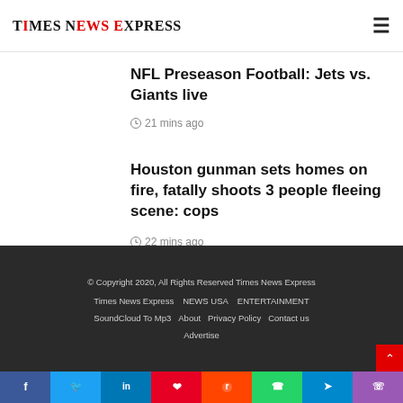Times News Express
NFL Preseason Football: Jets vs. Giants live
21 mins ago
Houston gunman sets homes on fire, fatally shoots 3 people fleeing scene: cops
22 mins ago
© Copyright 2020, All Rights Reserved Times News Express
Times News Express  NEWS USA  ENTERTAINMENT
SoundCloud To Mp3  About  Privacy Policy  Contact us
Advertise